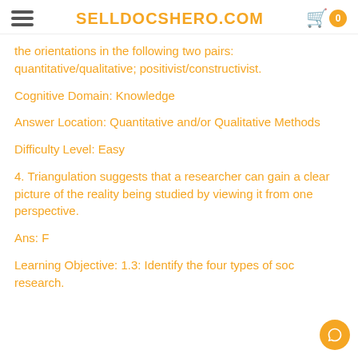SELLDOCSHERO.COM
the orientations in the following two pairs: quantitative/qualitative; positivist/constructivist.
Cognitive Domain: Knowledge
Answer Location: Quantitative and/or Qualitative Methods
Difficulty Level: Easy
4. Triangulation suggests that a researcher can gain a clear picture of the reality being studied by viewing it from one perspective.
Ans: F
Learning Objective: 1.3: Identify the four types of social research.